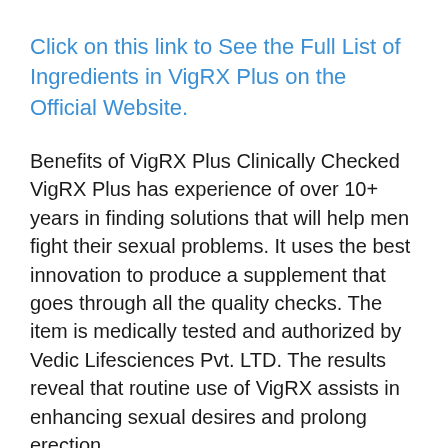Click on this link to See the Full List of Ingredients in VigRX Plus on the Official Website.
Benefits of VigRX Plus Clinically Checked VigRX Plus has experience of over 10+ years in finding solutions that will help men fight their sexual problems. It uses the best innovation to produce a supplement that goes through all the quality checks. The item is medically tested and authorized by Vedic Lifesciences Pvt. LTD. The results reveal that routine use of VigRX assists in enhancing sexual desires and prolong erection.
Optimised Dosing
Every tablet of VigRX Plus contains optimum